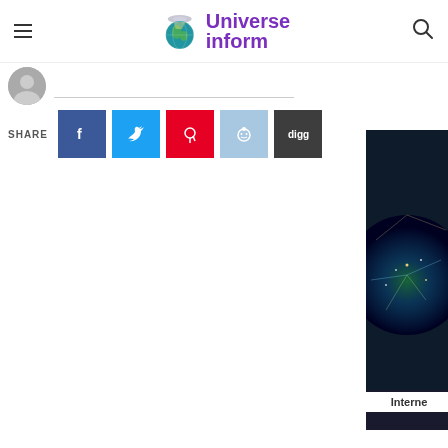Universe inform
Author info / breadcrumb row
SHARE
[Figure (photo): Sidebar image showing a glowing network map of the Earth at night with connectivity lines]
Interne